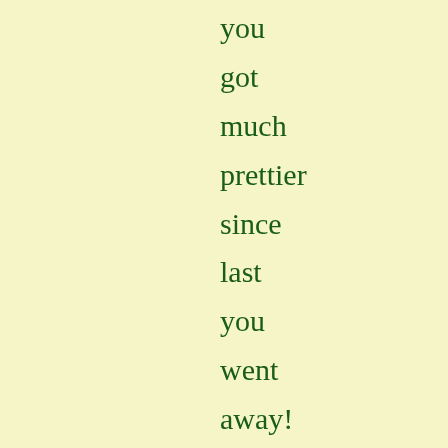you got much prettier since last you went away! Is that the new spring fashion the ladies wear on shore? Where i